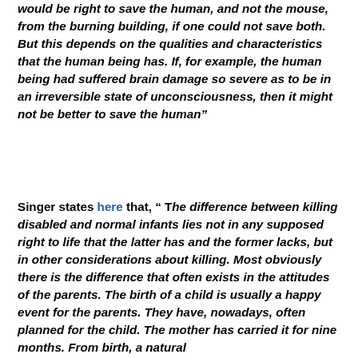would be right to save the human, and not the mouse, from the burning building, if one could not save both. But this depends on the qualities and characteristics that the human being has. If, for example, the human being had suffered brain damage so severe as to be in an irreversible state of unconsciousness, then it might not be better to save the human"
Singer states here that, " The difference between killing disabled and normal infants lies not in any supposed right to life that the latter has and the former lacks, but in other considerations about killing. Most obviously there is the difference that often exists in the attitudes of the parents. The birth of a child is usually a happy event for the parents. They have, nowadays, often planned for the child. The mother has carried it for nine months. From birth, a natural